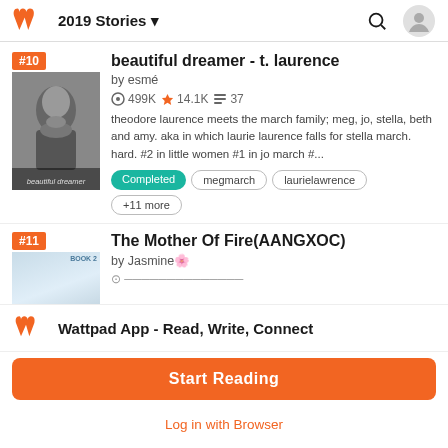2019 Stories
#10 beautiful dreamer - t. laurence by esmé 499K 14.1K 37 theodore laurence meets the march family; meg, jo, stella, beth and amy. aka in which laurie laurence falls for stella march. hard. #2 in little women #1 in jo march #... Completed megmarch laurielawrence +11 more
#11 The Mother Of Fire(AANGXOC) by Jasmine🌸
Wattpad App - Read, Write, Connect
Start Reading
Log in with Browser